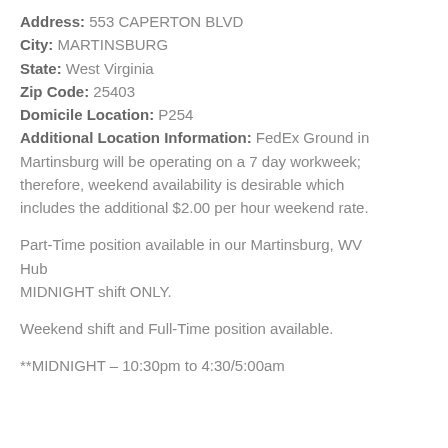Address: 553 CAPERTON BLVD
City: MARTINSBURG
State: West Virginia
Zip Code: 25403
Domicile Location: P254
Additional Location Information: FedEx Ground in Martinsburg will be operating on a 7 day workweek; therefore, weekend availability is desirable which includes the additional $2.00 per hour weekend rate.
Part-Time position available in our Martinsburg, WV Hub
MIDNIGHT shift ONLY.
Weekend shift and Full-Time position available.
**MIDNIGHT – 10:30pm to 4:30/5:00am